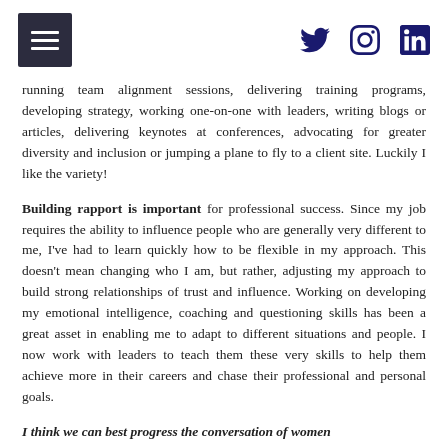[hamburger menu] [twitter icon] [instagram icon] [linkedin icon]
running team alignment sessions, delivering training programs, developing strategy, working one-on-one with leaders, writing blogs or articles, delivering keynotes at conferences, advocating for greater diversity and inclusion or jumping a plane to fly to a client site. Luckily I like the variety!
Building rapport is important for professional success. Since my job requires the ability to influence people who are generally very different to me, I've had to learn quickly how to be flexible in my approach. This doesn't mean changing who I am, but rather, adjusting my approach to build strong relationships of trust and influence. Working on developing my emotional intelligence, coaching and questioning skills has been a great asset in enabling me to adapt to different situations and people. I now work with leaders to teach them these very skills to help them achieve more in their careers and chase their professional and personal goals.
I think we can best progress the conversation of women